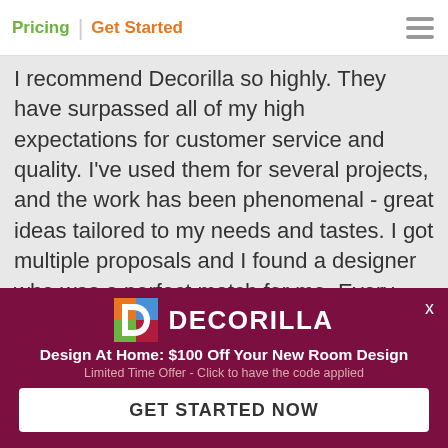Pricing | Get Started
I recommend Decorilla so highly. They have surpassed all of my high expectations for customer service and quality. I've used them for several projects, and the work has been phenomenal - great ideas tailored to my needs and tastes. I got multiple proposals and I found a designer who was a perfect match for me. Every one on the team is very responsive and the value for the money is incredibly high. Everyone who sees the
[Figure (logo): Decorilla logo and promotional banner: Design At Home: $100 Off Your New Room Design. Limited Time Offer - Click to have the code applied. GET STARTED NOW button.]